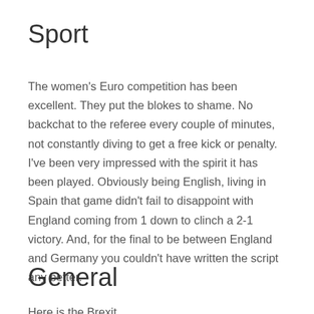Sport
The women's Euro competition has been excellent. They put the blokes to shame. No backchat to the referee every couple of minutes, not constantly diving to get a free kick or penalty. I've been very impressed with the spirit it has been played. Obviously being English, living in Spain that game didn't fail to disappoint with England coming from 1 down to clinch a 2-1 victory. And, for the final to be between England and Germany you couldn't have written the script any better.
General
Here is the Brexit...